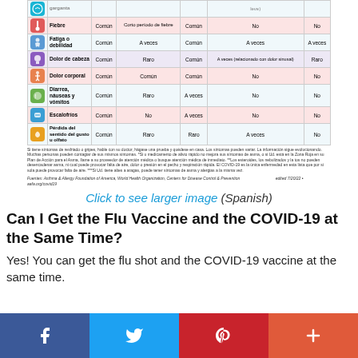[Figure (table-as-image): Comparison table of flu/cold/COVID symptoms in Spanish showing rows: Fiebre, Fatiga o debilidad, Dolor de cabeza, Dolor corporal, Diarrea náuseas y vómitos, Escalofríos, Pérdida del sentido del gusto u olfato with columns for frequency across different illnesses]
Click to see larger image (Spanish)
Can I Get the Flu Vaccine and the COVID-19 at the Same Time?
Yes! You can get the flu shot and the COVID-19 vaccine at the same time.